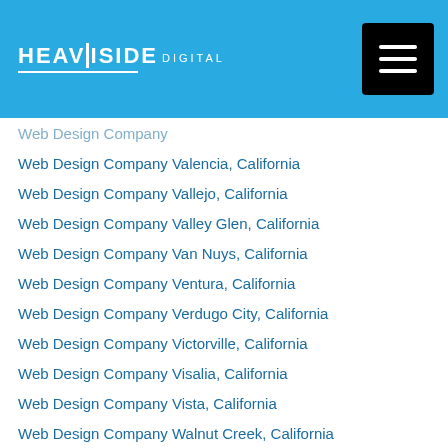HEAVISIDE DIGITAL
Web Design Company Valencia, California
Web Design Company Vallejo, California
Web Design Company Valley Glen, California
Web Design Company Van Nuys, California
Web Design Company Ventura, California
Web Design Company Verdugo City, California
Web Design Company Victorville, California
Web Design Company Visalia, California
Web Design Company Vista, California
Web Design Company Walnut Creek, California
Web Design Company Warm Springs District, California
Web Design Company Watsonville, California
Web Design Company West Covina, California
Web Design Company West Sacramento, California
Web Design Company Westminster, California
Web Design Company Whittier, California
Web Design Company Wilmington, California
Web Design Company Woodland, California